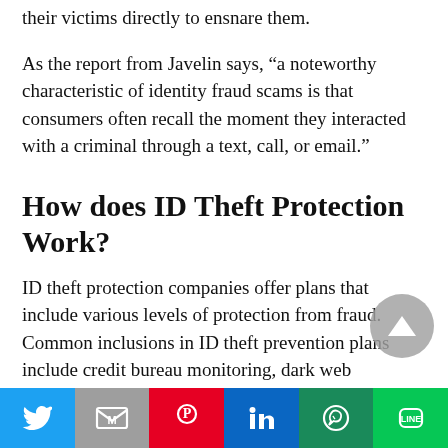their victims directly to ensnare them.
As the report from Javelin says, “a noteworthy characteristic of identity fraud scams is that consumers often recall the moment they interacted with a criminal through a text, call, or email.”
How does ID Theft Protection Work?
ID theft protection companies offer plans that include various levels of protection from fraud. Common inclusions in ID theft prevention plans include credit bureau monitoring, dark web